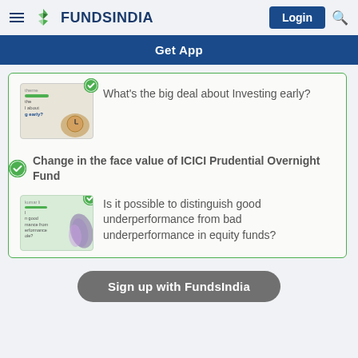FundsIndia — Login
Get App
What's the big deal about Investing early?
Change in the face value of ICICI Prudential Overnight Fund
[Figure (screenshot): Thumbnail image for article about distinguishing good underperformance from bad underperformance in equity funds]
Is it possible to distinguish good underperformance from bad underperformance in equity funds?
Sign up with FundsIndia